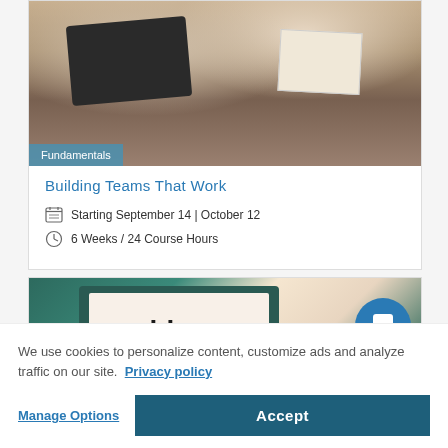[Figure (photo): Overhead view of people sitting around a table with laptops and notebooks in a meeting or study group]
Fundamentals
Building Teams That Work
Starting September 14 | October 12
6 Weeks / 24 Course Hours
[Figure (photo): Tablet or laptop screen displaying the word 'blog' on a website, surrounded by colorful notebooks and plants]
We use cookies to personalize content, customize ads and analyze traffic on our site. Privacy policy
Manage Options
Accept